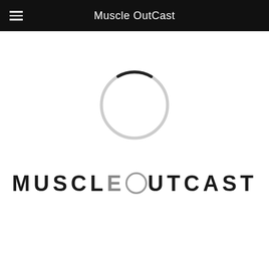Muscle OutCast
[Figure (logo): Muscle OutCast loading spinner — a thin light gray circle with a short dark arc at the bottom-right, indicating a loading state]
[Figure (logo): Muscle OutCast wordmark in bold spaced uppercase letters: MUSCLEOUTCAST, with the letter O rendered as a drawn circle outline and E in gray]